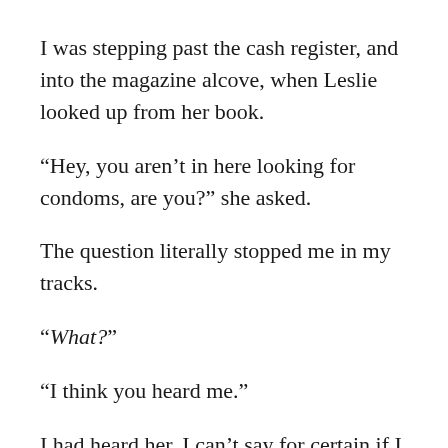I was stepping past the cash register, and into the magazine alcove, when Leslie looked up from her book.
“Hey, you aren’t in here looking for condoms, are you?” she asked.
The question literally stopped me in my tracks.
“What?”
“I think you heard me.”
I had heard her. I can’t say for certain if I turned beet-red at that moment. But I likely